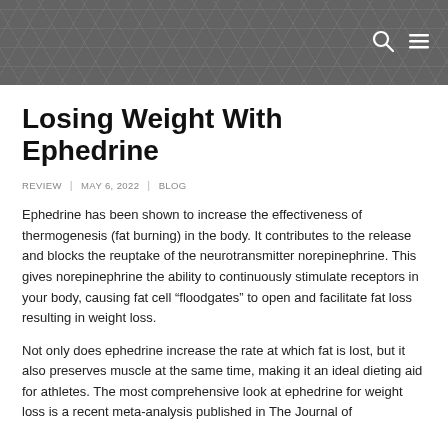REVIEW | MAY 6, 2022 | BLOG
Losing Weight With Ephedrine
REVIEW  |  MAY 6, 2022  |  BLOG
Ephedrine has been shown to increase the effectiveness of thermogenesis (fat burning) in the body. It contributes to the release and blocks the reuptake of the neurotransmitter norepinephrine. This gives norepinephrine the ability to continuously stimulate receptors in your body, causing fat cell “floodgates” to open and facilitate fat loss resulting in weight loss.
Not only does ephedrine increase the rate at which fat is lost, but it also preserves muscle at the same time, making it an ideal dieting aid for athletes. The most comprehensive look at ephedrine for weight loss is a recent meta-analysis published in The Journal of